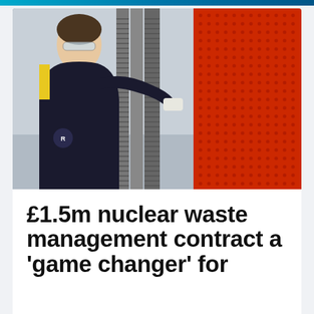[Figure (photo): A worker in a dark uniform with 'Responsible' logo wearing safety glasses, operating industrial equipment with corrugated metal tubes and an orange perforated red panel in the background.]
£1.5m nuclear waste management contract a 'game changer' for